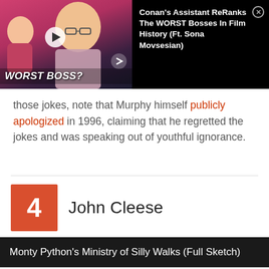[Figure (screenshot): Video thumbnail and info banner for 'Conan's Assistant ReRanks The WORST Bosses In Film History (Ft. Sona Movsesian)' with thumbnail showing two people and text 'WORST BOSS?']
those jokes, note that Murphy himself publicly apologized in 1996, claiming that he regretted the jokes and was speaking out of youthful ignorance.
4  John Cleese
[Figure (screenshot): Dark video title bar reading: Monty Python's Ministry of Silly Walks (Full Sketch)]
[Figure (screenshot): Ad banner with infinity logo icon, checkmark, and text 'In-store shopping']